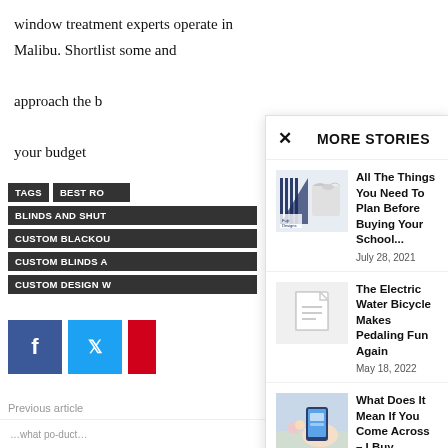window treatment experts operate in Malibu. Shortlist some and approach the b… your budget
TAGS  BEST RO…  BLINDS AND SHUT…  CUSTOM BLACKOU…  CUSTOM BLINDS A…  CUSTOM DESIGN W…
[Social sharing buttons: Facebook, Twitter, ...]
Previous article
Girls Be fash… the trendiest… shirts collect…...
MORE STORIES
[Figure (illustration): Thumbnail image combining school uniform/supplies graphic with t-shirt and logo]
All The Things You Need To Plan Before Buying Your School...
July 28, 2021
[Figure (illustration): Placeholder thumbnail with document icon for electric bicycle article]
The Electric Water Bicycle Makes Pedaling Fun Again
May 18, 2022
[Figure (photo): Person holding a smartphone, seen from above on a light background with flowers]
What Does It Mean If You Come Across – I Buy...
May 26, 2022